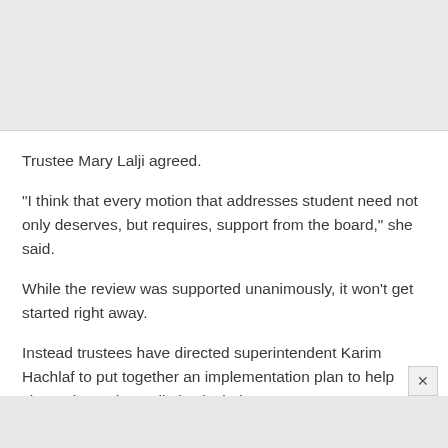[Figure (photo): Gray placeholder image area at the top of the page]
Trustee Mary Lalji agreed.
“I think that every motion that addresses student need not only deserves, but requires, support from the board,” she said.
While the review was supported unanimously, it won’t get started right away.
Instead trustees have directed superintendent Karim Hachlaf to put together an implementation plan to help shape the review. It’ll also include a monetary